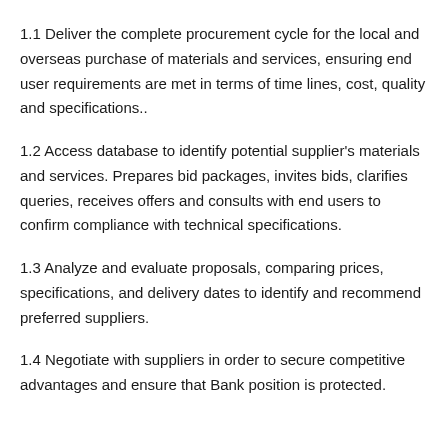1.1 Deliver the complete procurement cycle for the local and overseas purchase of materials and services, ensuring end user requirements are met in terms of time lines, cost, quality and specifications..
1.2 Access database to identify potential supplier's materials and services. Prepares bid packages, invites bids, clarifies queries, receives offers and consults with end users to confirm compliance with technical specifications.
1.3 Analyze and evaluate proposals, comparing prices, specifications, and delivery dates to identify and recommend preferred suppliers.
1.4 Negotiate with suppliers in order to secure competitive advantages and ensure that Bank position is protected.